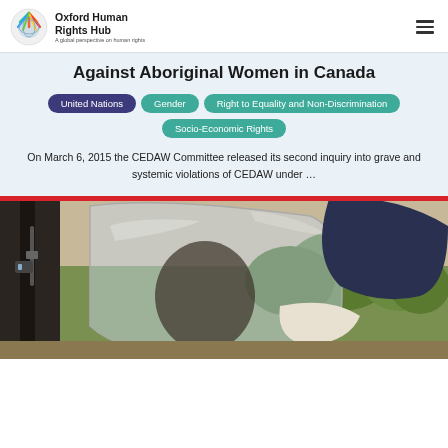Oxford Human Rights Hub — A global perspective on human rights
Against Aboriginal Women in Canada
United Nations
Gender
Right to Equality and Non-Discrimination
Socio-Economic Rights
On March 6, 2015 the CEDAW Committee released its second inquiry into grave and systemic violations of CEDAW under ...
[Figure (photo): A person wearing a transparent face shield / riot protection gear with trees visible in the background, with a red bar at the top of the image.]